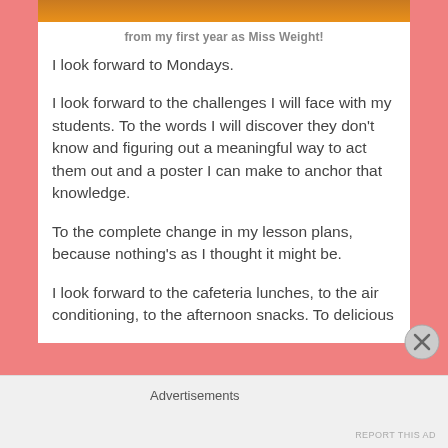[Figure (photo): Top portion of an image showing warm orange/yellow tones (partially cropped at top of page)]
from my first year as Miss Weight!
I look forward to Mondays.
I look forward to the challenges I will face with my students. To the words I will discover they don’t know and figuring out a meaningful way to act them out and a poster I can make to anchor that knowledge.
To the complete change in my lesson plans, because nothing’s as I thought it might be.
I look forward to the cafeteria lunches, to the air conditioning, to the afternoon snacks. To delicious
Advertisements